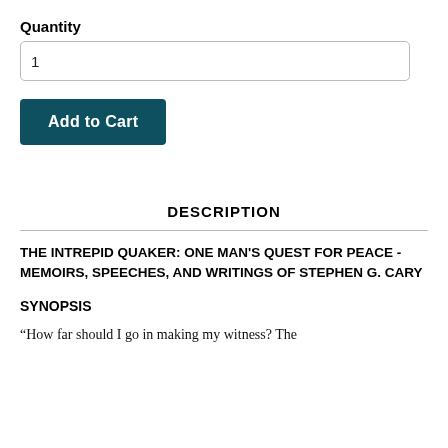Quantity
1
Add to Cart
DESCRIPTION
THE INTREPID QUAKER: ONE MAN'S QUEST FOR PEACE - MEMOIRS, SPEECHES, AND WRITINGS OF STEPHEN G. CARY
SYNOPSIS
“How far should I go in making my witness? The